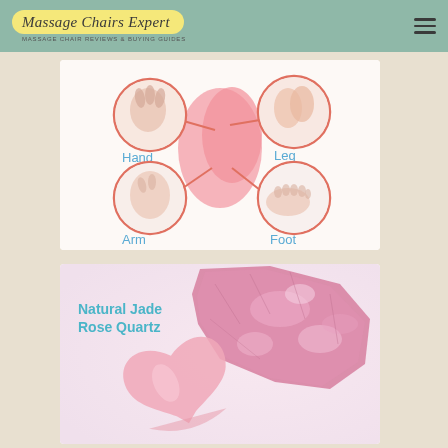Massage Chairs Expert
[Figure (illustration): Body area usage diagram showing a rose quartz gua sha tool with labeled circles pointing to Hand, Leg, Arm, and Foot areas on a light background]
[Figure (photo): Photo of natural jade rose quartz stone (raw chunk) and a heart-shaped gua sha tool made of rose quartz, with text label 'Natural Jade Rose Quartz']